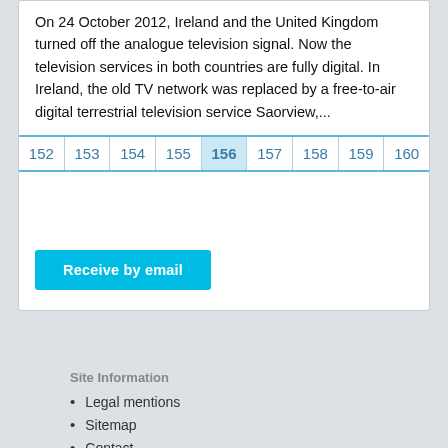On 24 October 2012, Ireland and the United Kingdom turned off the analogue television signal. Now the television services in both countries are fully digital. In Ireland, the old TV network was replaced by a free-to-air digital terrestrial television service Saorview,...
[Figure (other): Pagination bar showing page numbers 152 through 160, with page 156 highlighted/active]
Receive by email
Site Information
Legal mentions
Sitemap
Contact
FAQ